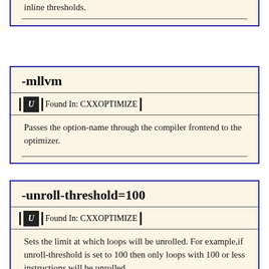inline thresholds.
-mllvm
Found In: CXXOPTIMIZE
Passes the option-name through the compiler frontend to the optimizer.
-unroll-threshold=100
Found In: CXXOPTIMIZE
Sets the limit at which loops will be unrolled. For example,if unroll-threshold is set to 100 then only loops with 100 or less instructions will be unrolled.